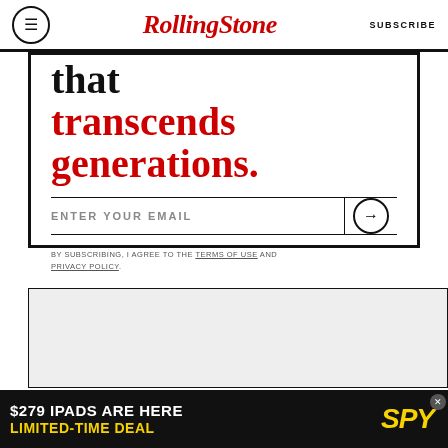RollingStone  SUBSCRIBE
that transcends generations.
ENTER YOUR EMAIL
BY SUBSCRIBING, I AGREE TO THE TERMS OF USE AND PRIVACY POLICY.
[Figure (other): Grey ad placeholder box with close X button]
[Figure (other): Advertisement banner: $279 IPADS ARE HERE LIMITED-TIME DEAL SPY]